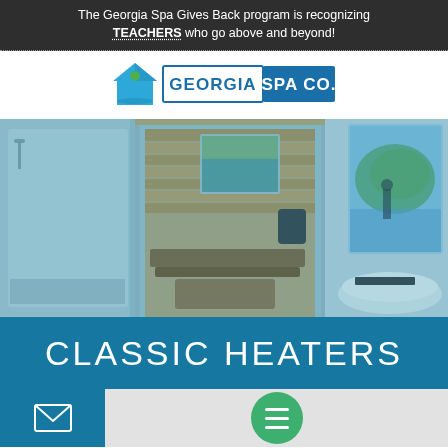The Georgia Spa Gives Back program is recognizing TEACHERS who go above and beyond!
[Figure (logo): Georgia Spa Co. logo with house icon and teal/blue colors]
[Figure (photo): Interior photo of a luxury bathroom/sauna room with glass sauna enclosure, wooden interior, white bathtub, and large window with nature view. Photo has a teal/blue overlay tint.]
CLASSIC HEATERS